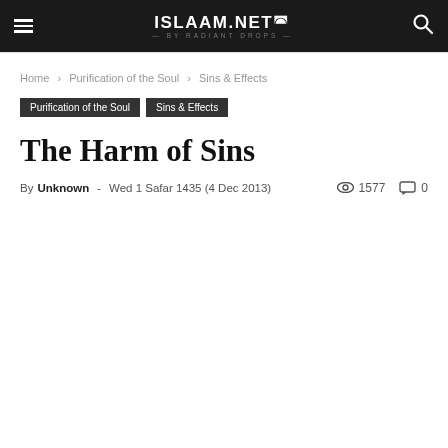ISLAAM.NET BY RADIANT DROPS
Home › Purification of the Soul › Sins & Effects
Purification of the Soul   Sins & Effects
The Harm of Sins
By Unknown - Wed 1 Safar 1435 (4 Dec 2013)   1577   0